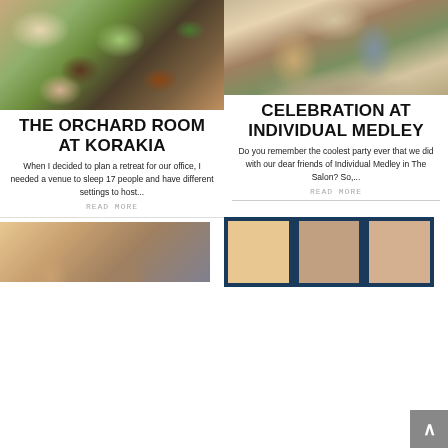[Figure (photo): Food spread with Mediterranean dishes, vegetables, and garnishes viewed from above]
[Figure (photo): Couple sitting on a couch, man with hat and tattoos, woman in orange, in a bohemian-style living room]
THE ORCHARD ROOM AT KORAKIA
CELEBRATION AT INDIVIDUAL MEDLEY
When I decided to plan a retreat for our office, I needed a venue to sleep 17 people and have different settings to host...
Do you remember the coolest party ever that we did with our dear friends of Individual Medley in The Salon? So,...
READ MORE
READ MORE
[Figure (photo): Two people at an event with press wall backdrop showing Los Angeles logos]
[Figure (photo): Collage of clothing/boutique images with UP Boutique logo]